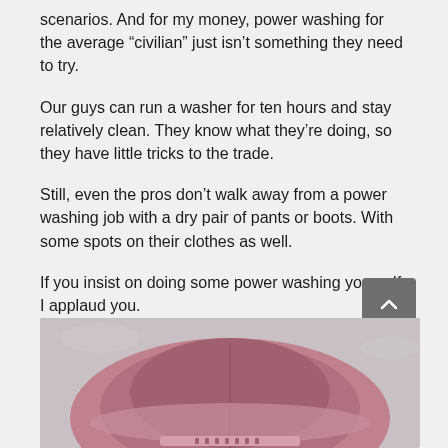scenarios. And for my money, power washing for the average “civilian” just isn’t something they need to try.
Our guys can run a washer for ten hours and stay relatively clean. They know what they’re doing, so they have little tricks to the trade.
Still, even the pros don’t walk away from a power washing job with a dry pair of pants or boots. With some spots on their clothes as well.
If you insist on doing some power washing yourself, I applaud you.
[Figure (photo): Top-down view of a person wearing a pink/mauve baseball cap, face not visible, on a light sandy or concrete background.]